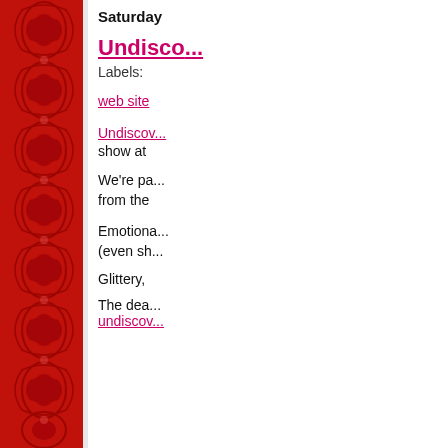[Figure (illustration): Decorative red ornamental border with floral/baroque pattern on the left side of the page]
Saturday
Undisco...
Labels:
web site
Undiscov...
show at
We're pa...
from the
Emotiona...
(even sh...
Glittery,
The dea...
undiscov...